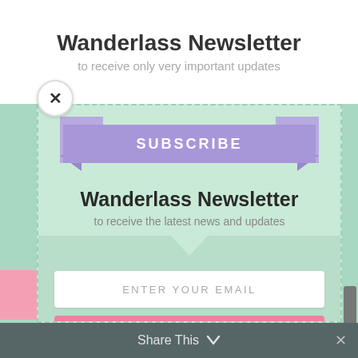Wanderlass Newsletter
to receive only very important updates
[Figure (screenshot): Newsletter subscription modal popup with purple ribbon banner saying SUBSCRIBE, title Wanderlass Newsletter, subtitle to receive the latest news and updates, email input field, and pink SUBSCRIBE! button on mint green background with dashed border]
Wanderlass Newsletter
to receive the latest news and updates
ENTER YOUR EMAIL
SUBSCRIBE!
Share This ∨